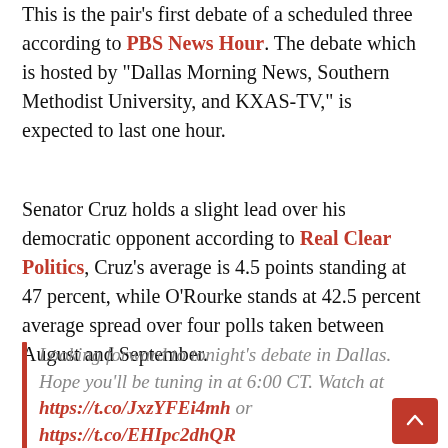This is the pair's first debate of a scheduled three according to PBS News Hour. The debate which is hosted by "Dallas Morning News, Southern Methodist University, and KXAS-TV," is expected to last one hour.
Senator Cruz holds a slight lead over his democratic opponent according to Real Clear Politics, Cruz's average is 4.5 points standing at 47 percent, while O'Rourke stands at 42.5 percent average spread over four polls taken between August and September.
Looking forward to tonight's debate in Dallas. Hope you'll be tuning in at 6:00 CT. Watch at https://t.co/JxzYFEi4mh or https://t.co/EHIpc2dhQR https://t.co/OrliWmsdg4